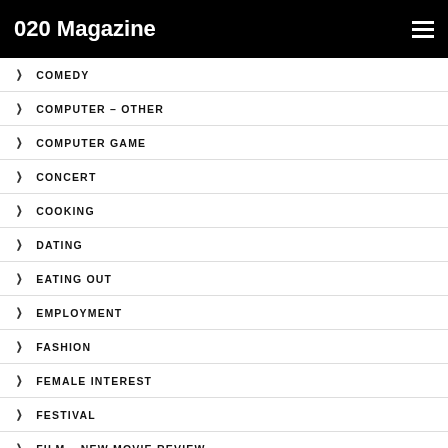020 Magazine
COMEDY
COMPUTER – OTHER
COMPUTER GAME
CONCERT
COOKING
DATING
EATING OUT
EMPLOYMENT
FASHION
FEMALE INTEREST
FESTIVAL
FILM – NEW MOVIE REVIEW